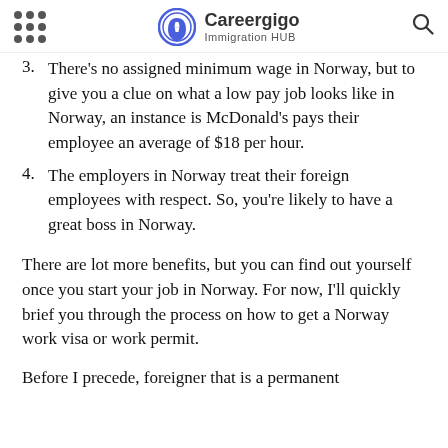Careergigo Immigration HUB
3. There's no assigned minimum wage in Norway, but to give you a clue on what a low pay job looks like in Norway, an instance is McDonald's pays their employee an average of $18 per hour.
4. The employers in Norway treat their foreign employees with respect. So, you're likely to have a great boss in Norway.
There are lot more benefits, but you can find out yourself once you start your job in Norway. For now, I'll quickly brief you through the process on how to get a Norway work visa or work permit.
Before I precede, foreigner that is a permanent